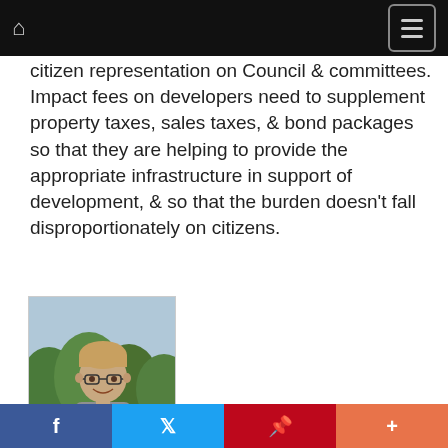Navigation bar with home icon and menu button
citizen representation on Council & committees. Impact fees on developers need to supplement property taxes, sales taxes, & bond packages so that they are helping to provide the appropriate infrastructure in support of development, & so that the burden doesn't fall disproportionately on citizens.
[Figure (photo): Portrait photo of a man with glasses and light brown hair, wearing a light blue shirt and grey blazer, smiling, with green trees in the background]
Social share bar: Facebook, Twitter, Pinterest, Plus